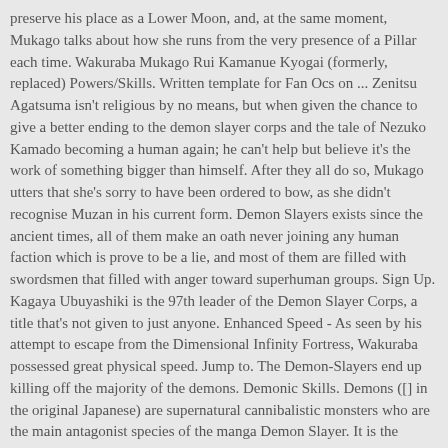preserve his place as a Lower Moon, and, at the same moment, Mukago talks about how she runs from the very presence of a Pillar each time. Wakuraba Mukago Rui Kamanue Kyogai (formerly, replaced) Powers/Skills. Written template for Fan Ocs on ... Zenitsu Agatsuma isn't religious by no means, but when given the chance to give a better ending to the demon slayer corps and the tale of Nezuko Kamado becoming a human again; he can't help but believe it's the work of something bigger than himself. After they all do so, Mukago utters that she's sorry to have been ordered to bow, as she didn't recognise Muzan in his current form. Demon Slayers exists since the ancient times, all of them make an oath never joining any human faction which is prove to be a lie, and most of them are filled with swordsmen that filled with anger toward superhuman groups. Sign Up. Kagaya Ubuyashiki is the 97th leader of the Demon Slayer Corps, a title that's not given to just anyone. Enhanced Speed - As seen by his attempt to escape from the Dimensional Infinity Fortress, Wakuraba possessed great physical speed. Jump to. The Demon-Slayers end up killing off the majority of the demons. Demonic Skills. Demons ([] in the original Japanese) are supernatural cannibalistic monsters who are the main antagonist species of the manga Demon Slayer. It is the Taisho Period in Japan. Wakuraba, Lower Rank 3, the demon in the